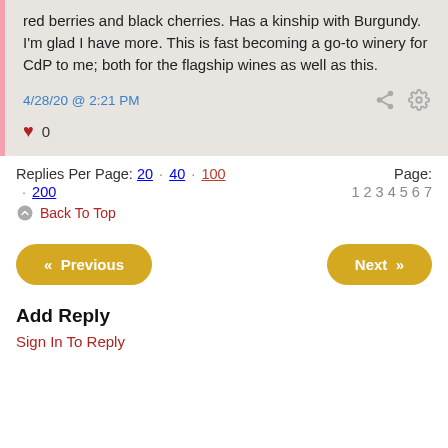red berries and black cherries. Has a kinship with Burgundy. I'm glad I have more. This is fast becoming a go-to winery for CdP to me; both for the flagship wines as well as this.
4/28/20 @ 2:21 PM
0
Replies Per Page: 20 · 40 · 100 · 200   Page: 1 2 3 4 5 6 7
Back To Top
« Previous
Next »
Add Reply
Sign In To Reply